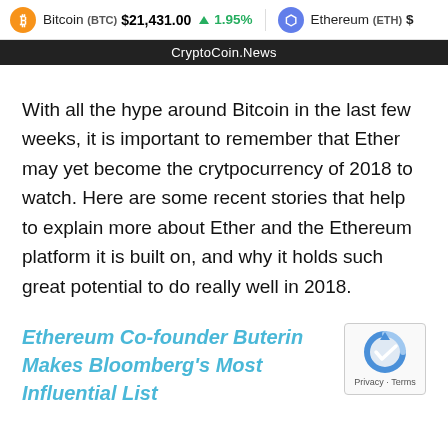Bitcoin (BTC) $21,431.00 ▲ 1.95%   Ethereum (ETH) $
CryptoCoin.News
With all the hype around Bitcoin in the last few weeks, it is important to remember that Ether may yet become the crytpocurrency of 2018 to watch. Here are some recent stories that help to explain more about Ether and the Ethereum platform it is built on, and why it holds such great potential to do really well in 2018.
Ethereum Co-founder Buterin Makes Bloomberg's Most Influential List